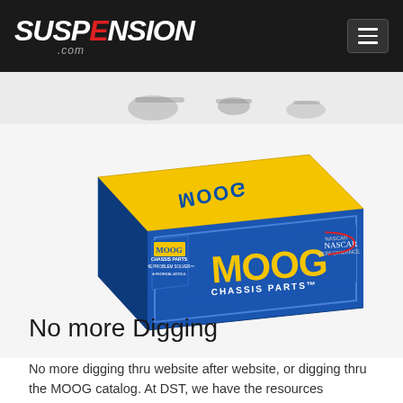SUSPENSION.com
[Figure (photo): MOOG Chassis Parts product box, yellow and blue, photographed at an angle showing top and front face. Front face shows large yellow MOOG logo and CHASSIS PARTS text in white on blue background. NASCAR Performance logo visible on right side.]
No more Digging
No more digging thru website after website, or digging thru the MOOG catalog. At DST, we have the resources...